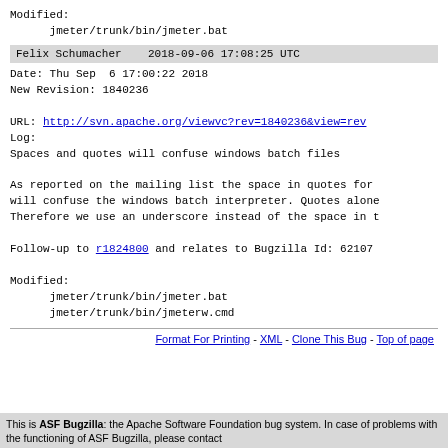Modified:
      jmeter/trunk/bin/jmeter.bat
Felix Schumacher   2018-09-06 17:08:25 UTC
Date: Thu Sep  6 17:00:22 2018
New Revision: 1840236

URL: http://svn.apache.org/viewvc?rev=1840236&view=rev
Log:
Spaces and quotes will confuse windows batch files

As reported on the mailing list the space in quotes for
will confuse the windows batch interpreter. Quotes alone
Therefore we use an underscore instead of the space in t

Follow-up to r1824800 and relates to Bugzilla Id: 62107

Modified:
      jmeter/trunk/bin/jmeter.bat
      jmeter/trunk/bin/jmeterw.cmd
Format For Printing  -  XML  -  Clone This Bug  -  Top of page
This is ASF Bugzilla: the Apache Software Foundation bug system. In case of problems with the functioning of ASF Bugzilla, please contact bugzilla-admin@apache.org. Please Note: this e-mail address is only for